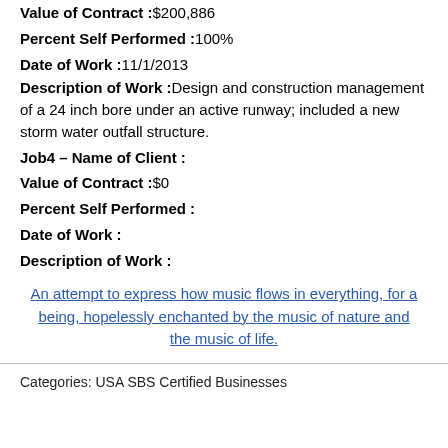Value of Contract :$200,886
Percent Self Performed :100%
Date of Work :11/1/2013
Description of Work :Design and construction management of a 24 inch bore under an active runway; included a new storm water outfall structure.
Job4 – Name of Client :
Value of Contract :$0
Percent Self Performed :
Date of Work :
Description of Work :
An attempt to express how music flows in everything, for a being, hopelessly enchanted by the music of nature and the music of life.
Categories: USA SBS Certified Businesses